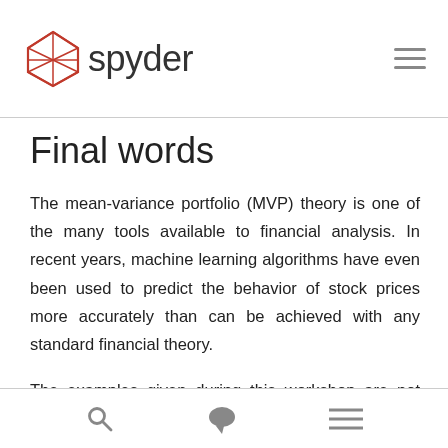spyder
Final words
The mean-variance portfolio (MVP) theory is one of the many tools available to financial analysis. In recent years, machine learning algorithms have even been used to predict the behavior of stock prices more accurately than can be achieved with any standard financial theory.
The examples given during this workshop are not intended to serve as guidelines for you to invest your money. It is only a first step towards learning financial analysis using Python and a scientific IDE.